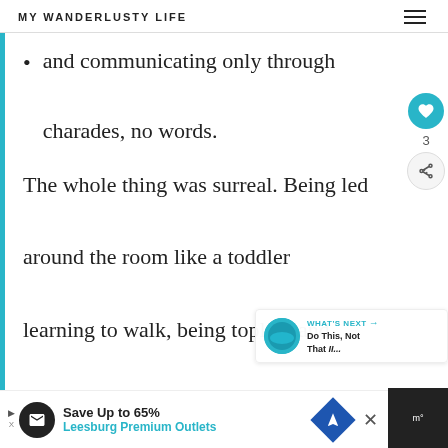MY WANDERLUSTY LIFE
and communicating only through charades, no words.
The whole thing was surreal. Being led around the room like a toddler learning to walk, being topless and bathed by an adult while wearing...